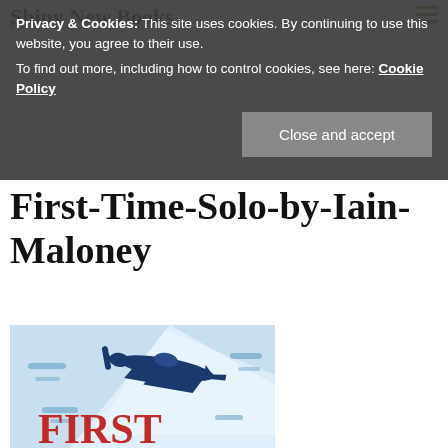Shiny New Books — What to Read Next and Why
Privacy & Cookies: This site uses cookies. By continuing to use this website, you agree to their use. To find out more, including how to control cookies, see here: Cookie Policy
First-Time-Solo-by-Iain-Maloney
[Figure (illustration): Book cover illustration of a WWII Spitfire airplane flying through a light blue sky with stylized wind streaks, and large red text 'FIRST' visible at the bottom of the cover.]